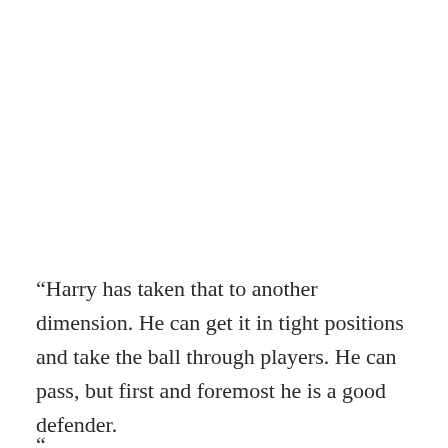“Harry has taken that to another dimension. He can get it in tight positions and take the ball through players. He can pass, but first and foremost he is a good defender.
“